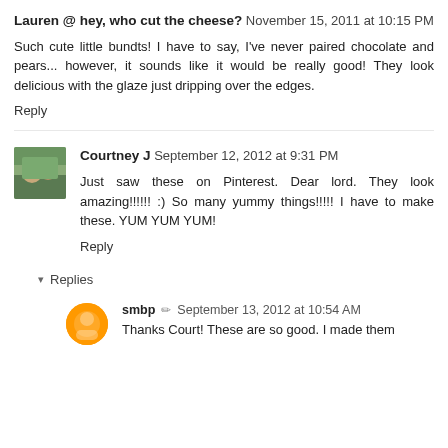Lauren @ hey, who cut the cheese? November 15, 2011 at 10:15 PM
Such cute little bundts! I have to say, I've never paired chocolate and pears... however, it sounds like it would be really good! They look delicious with the glaze just dripping over the edges.
Reply
[Figure (photo): Small avatar photo of Courtney J showing two people outdoors]
Courtney J September 12, 2012 at 9:31 PM
Just saw these on Pinterest. Dear lord. They look amazing!!!!!! :) So many yummy things!!!!! I have to make these. YUM YUM YUM!
Reply
▾ Replies
[Figure (logo): Blogger orange circle avatar icon for smbp]
smbp ✏ September 13, 2012 at 10:54 AM
Thanks Court! These are so good. I made them